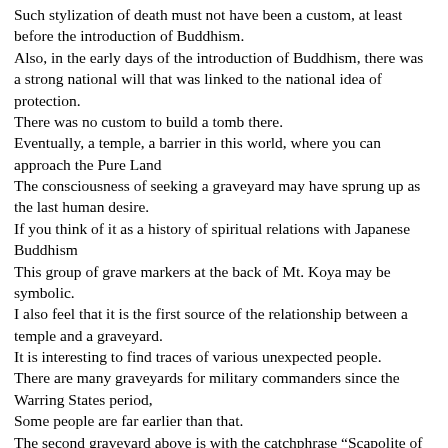Such stylization of death must not have been a custom, at least before the introduction of Buddhism.
Also, in the early days of the introduction of Buddhism, there was a strong national will that was linked to the national idea of protection.
There was no custom to build a tomb there.
Eventually, a temple, a barrier in this world, where you can approach the Pure Land
The consciousness of seeking a graveyard may have sprung up as the last human desire.
If you think of it as a history of spiritual relations with Japanese Buddhism
This group of grave markers at the back of Mt. Koya may be symbolic.
I also feel that it is the first source of the relationship between a temple and a graveyard.
It is interesting to find traces of various unexpected people.
There are many graveyards for military commanders since the Warring States period,
Some people are far earlier than that.
The second graveyard above is with the catchphrase “Scapolite of the Sixth Generation”
You can even discover the name of Takenouchi no Sukune, a loyal retainer of the Kiki era.
The sixth generation means that he served for the sixth generation